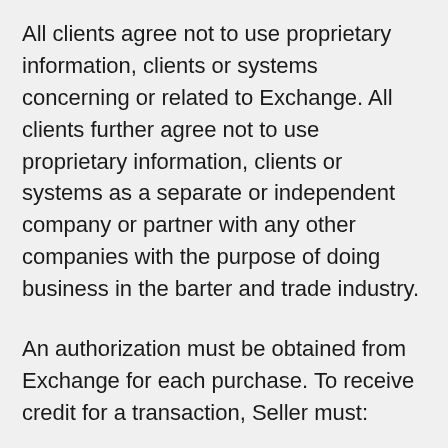All clients agree not to use proprietary information, clients or systems concerning or related to Exchange. All clients further agree not to use proprietary information, clients or systems as a separate or independent company or partner with any other companies with the purpose of doing business in the barter and trade industry.
An authorization must be obtained from Exchange for each purchase. To receive credit for a transaction, Seller must:
Obtain an authorization number either by logging in to the website or calling Exchange for each transaction at the time of purchase. Obtain an